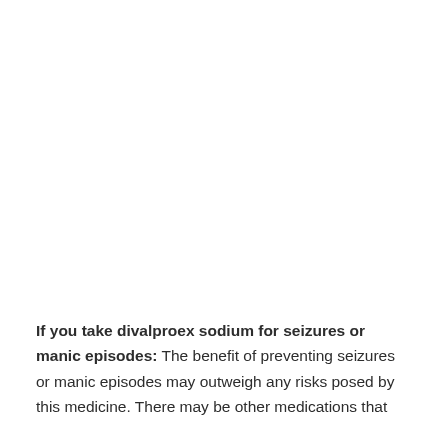If you take divalproex sodium for seizures or manic episodes: The benefit of preventing seizures or manic episodes may outweigh any risks posed by this medicine. There may be other medications that